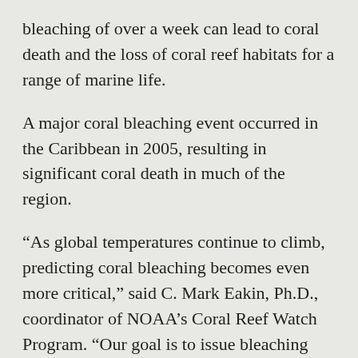bleaching of over a week can lead to coral death and the loss of coral reef habitats for a range of marine life.
A major coral bleaching event occurred in the Caribbean in 2005, resulting in significant coral death in much of the region.
“As global temperatures continue to climb, predicting coral bleaching becomes even more critical,” said C. Mark Eakin, Ph.D., coordinator of NOAA’s Coral Reef Watch Program. “Our goal is to issue bleaching forecasts for coral reefs worldwide.”
The new system was developed by scientists of NOAA’s Coral Reef Watch in Silver Spring, Md. and NOAA’s Earth Science Research Laboratory in Boulder, Colo., with funding from the NOAA Climate Program